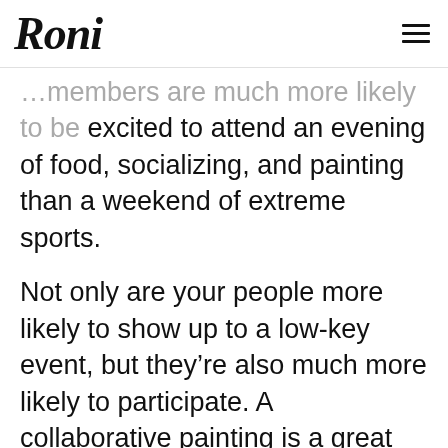RONI
members are much more likely to be excited to attend an evening of food, socializing, and painting than a weekend of extreme sports.
Not only are your people more likely to show up to a low-key event, but they’re also much more likely to participate. A collaborative painting is a great way to encourage even the least of the artists in the room to get out of their seats and take part in the activity. With very little risk in putting a paintbrush to a canvas, the timidest among you can put themselves